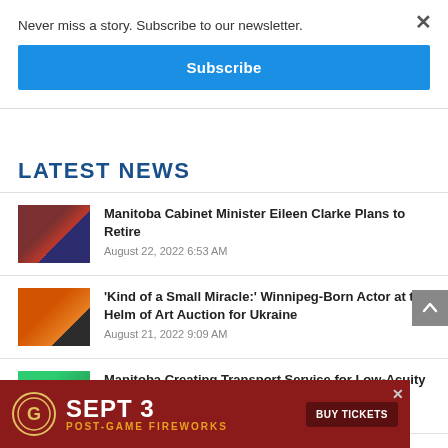Never miss a story. Subscribe to our newsletter.
Subscribe
LATEST NEWS
Manitoba Cabinet Minister Eileen Clarke Plans to Retire
August 22, 2022 6:53 AM
'Kind of a Small Miracle:' Winnipeg-Born Actor at the Helm of Art Auction for Ukraine
August 21, 2022 9:09 AM
Manitoba Creating Transport Service for Low-Acuity Medical Patients
[Figure (infographic): Ad banner: Sept 3 Post-Game Fireworks with Buy Tickets button on dark red background]